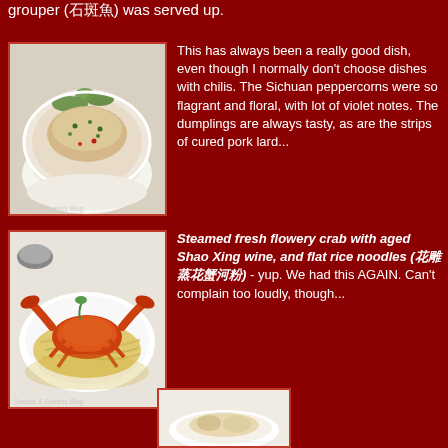grouper (石斑魚) was served up.
[Figure (photo): Photo of a Chinese dish in a white bowl with dumplings, cured pork, green herbs, Sichuan peppercorns, and chili pieces]
This has always been a really good dish, even though I normally don't choose dishes with chilis. The Sichuan peppercorns were so flagrant and floral, with lot of violet notes. The dumplings are always tasty, as are the strips of cured pork lard...
[Figure (photo): Photo of steamed fresh flowery crab with aged Shao Xing wine and flat rice noodles on a white oval plate with golden sauce]
Steamed fresh flowery crab with aged Shao Xing wine, and flat rice noodles (花雕蒸花蟹河粉) - yup. We had this AGAIN. Can't complain too loudly, though...
[Figure (photo): Partial photo of a dish, cut off at the bottom of the page]